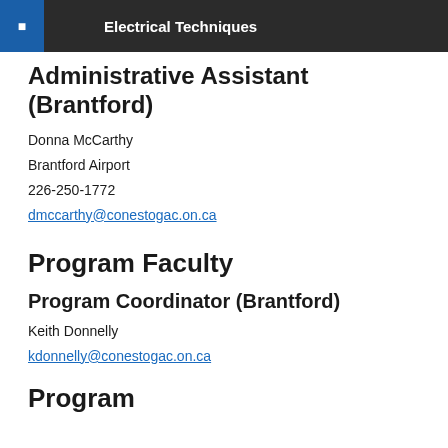Electrical Techniques
Administrative Assistant (Brantford)
Donna McCarthy
Brantford Airport
226-250-1772
dmccarthy@conestogac.on.ca
Program Faculty
Program Coordinator (Brantford)
Keith Donnelly
kdonnelly@conestogac.on.ca
Program